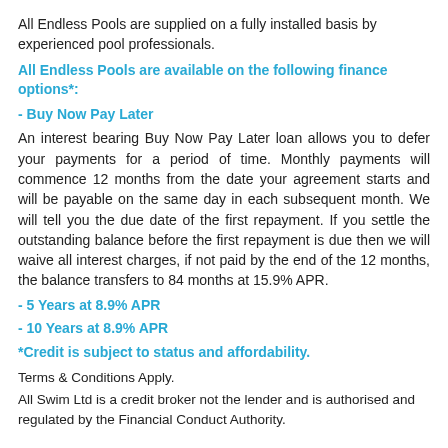All Endless Pools are supplied on a fully installed basis by experienced pool professionals.
All Endless Pools are available on the following finance options*:
- Buy Now Pay Later
An interest bearing Buy Now Pay Later loan allows you to defer your payments for a period of time. Monthly payments will commence 12 months from the date your agreement starts and will be payable on the same day in each subsequent month. We will tell you the due date of the first repayment. If you settle the outstanding balance before the first repayment is due then we will waive all interest charges, if not paid by the end of the 12 months, the balance transfers to 84 months at 15.9% APR.
- 5 Years at 8.9% APR
- 10 Years at 8.9% APR
*Credit is subject to status and affordability.
Terms & Conditions Apply.
All Swim Ltd is a credit broker not the lender and is authorised and regulated by the Financial Conduct Authority.